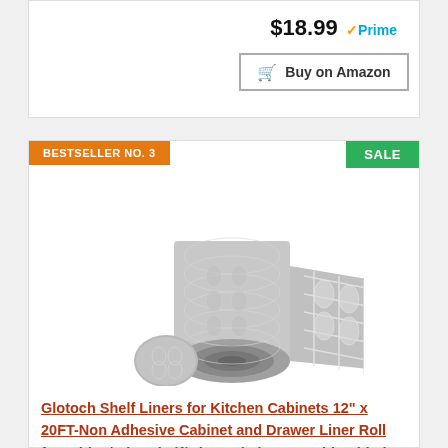$18.99 Prime
Buy on Amazon
BESTSELLER NO. 3
SALE
[Figure (photo): A roll of gray quatrefoil patterned shelf liner, partially unrolled, with a small circular sample piece in front.]
Glotoch Shelf Liners for Kitchen Cabinets 12" x 20FT-Non Adhesive Cabinet and Drawer Liner Roll for Fridge/Wire Shelf/Glass Shelves, Double Sided Non-Slip Durable and Strong, Quatrefoil Gray